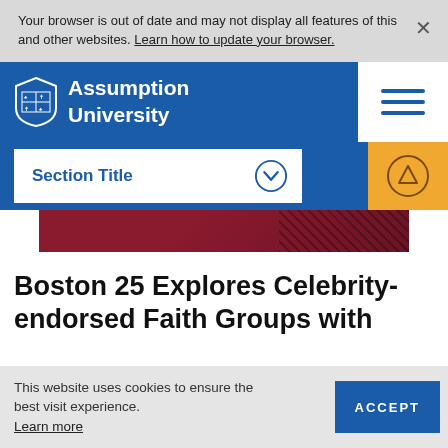Your browser is out of date and may not display all features of this and other websites. Learn how to update your browser.
[Figure (logo): Assumption University logo with shield crest and white text on blue navigation header with hamburger menu]
Section Title
[Figure (photo): Partial view of dark red/maroon fabric or academic gown with checkered pattern]
Boston 25 Explores Celebrity-endorsed Faith Groups with
This website uses cookies to ensure the best visit experience. Learn more
ACCEPT